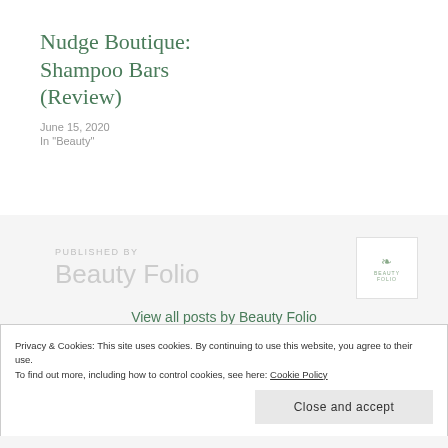Nudge Boutique: Shampoo Bars (Review)
June 15, 2020
In "Beauty"
PUBLISHED BY
Beauty Folio
View all posts by Beauty Folio
Privacy & Cookies: This site uses cookies. By continuing to use this website, you agree to their use.
To find out more, including how to control cookies, see here: Cookie Policy
Close and accept